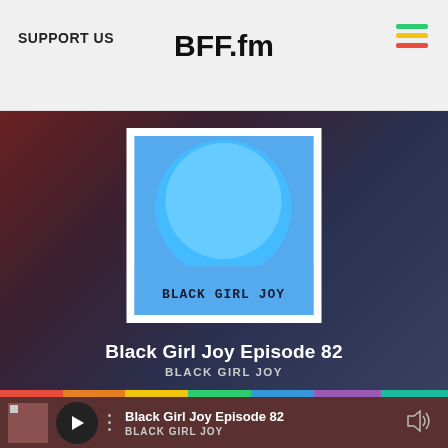SUPPORT US
[Figure (logo): BFF.fm logo in bold stylized text]
[Figure (illustration): Hamburger menu icon with three colored lines (green, yellow, red)]
[Figure (illustration): Album art for Black Girl Joy: blue circular afro silhouette on blue background with text 'BLACK GIRL JOY' at bottom, white bordered square frame]
Black Girl Joy Episode 82
BLACK GIRL JOY
Black Girl Joy Episode 82
BLACK GIRL JOY